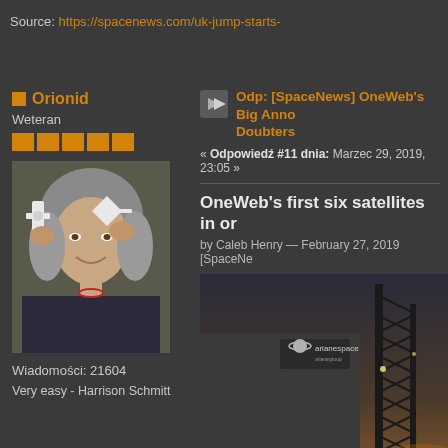Source: https://spacenews.com/uk-jump-starts-
Orionid
Weteran
[Figure (photo): Profile photo of a woman with grey hair smiling, holding a white model satellite or spacecraft component]
Wiadomości: 21604
Very easy - Harrison Schmitt
Odp: [SpaceNews] OneWeb's Big Anno Doubters
« Odpowiedź #11 dnia: Marzec 29, 2019, 23:05 »
OneWeb's first six satellites in or
by Caleb Henry — February 27, 2019 [SpaceNe
[Figure (photo): Photo of Arianespace launch tower/structure against a dusky sky, with Arianespace logo visible]